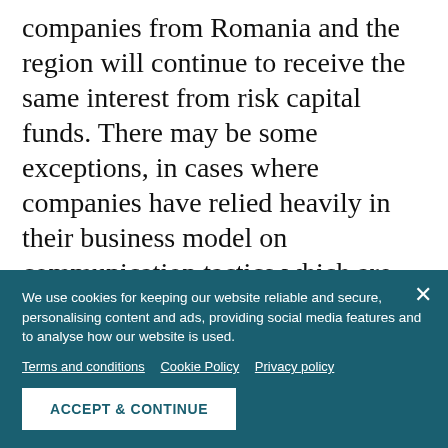companies from Romania and the region will continue to receive the same interest from risk capital funds. There may be some exceptions, in cases where companies have relied heavily in their business model on communication tactics which are no longer allowed by the new GDPR," Ghenea told BR.
Asked how the GDPR had been implemented in companies in which 3TS Capital has invested,
We use cookies for keeping our website reliable and secure, personalising content and ads, providing social media features and to analyse how our website is used.
Terms and conditions   Cookie Policy   Privacy policy
ACCEPT & CONTINUE